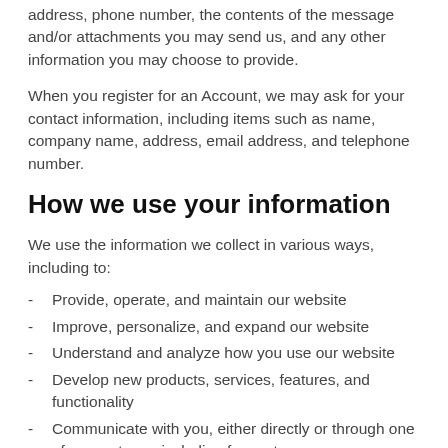address, phone number, the contents of the message and/or attachments you may send us, and any other information you may choose to provide.
When you register for an Account, we may ask for your contact information, including items such as name, company name, address, email address, and telephone number.
How we use your information
We use the information we collect in various ways, including to:
Provide, operate, and maintain our website
Improve, personalize, and expand our website
Understand and analyze how you use our website
Develop new products, services, features, and functionality
Communicate with you, either directly or through one of our partners, including for customer